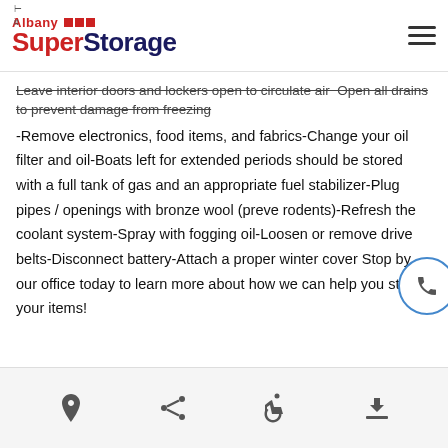Albany SuperStorage
Leave interior doors and lockers open to circulate air Open all drains to prevent damage from freezing
-Remove electronics, food items, and fabrics-Change your oil filter and oil-Boats left for extended periods should be stored with a full tank of gas and an appropriate fuel stabilizer-Plug pipes / openings with bronze wool (prevent rodents)-Refresh the coolant system-Spray with fogging oil-Loosen or remove drive belts-Disconnect battery-Attach a proper winter cover Stop by our office today to learn more about how we can help you store your items!